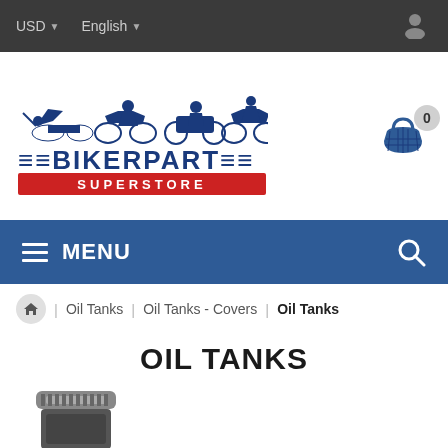USD  English
[Figure (logo): BikerPart Superstore logo with motorcycle silhouettes and shopping cart showing 0 items]
MENU
Home / Oil Tanks / Oil Tanks - Covers / Oil Tanks
OIL TANKS
[Figure (photo): Partial product image of an oil tank component at bottom of page]